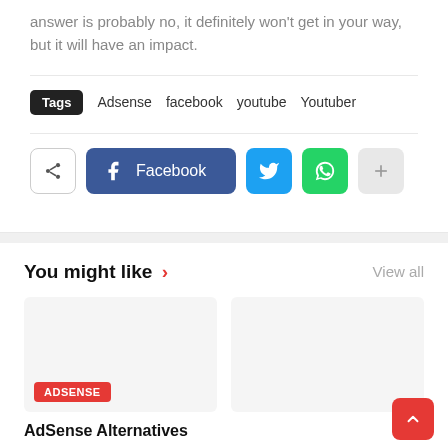answer is probably no, it definitely won't get in your way, but it will have an impact.
Tags   Adsense   facebook   youtube   Youtuber
[Figure (infographic): Social share buttons: share icon, Facebook button (dark blue), Twitter bird icon (light blue), WhatsApp icon (green), plus/more icon (gray)]
You might like ›
View all
[Figure (other): Article card placeholder with ADSENSE red badge label]
AdSense Alternatives